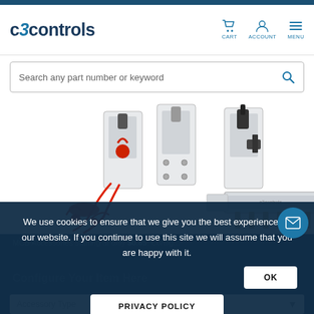[Figure (screenshot): c3controls website screenshot showing navigation header with logo, cart/account/menu icons, search bar, MCB accessories product image with circuit breakers and bus bar components, dark blue section with MCB accessories promotional text, cookie consent overlay, and Accessory Type dropdown]
c3controls | CART | ACCOUNT | MENU
Search any part number or keyword
MCB Accessories starting at only $0.85! Config...
We use cookies to ensure that we give you the best experience on our website. If you continue to use this site we will assume that you are happy with it.
OK
Configure Your Item Here
PRIVACY POLICY
Accessory Type